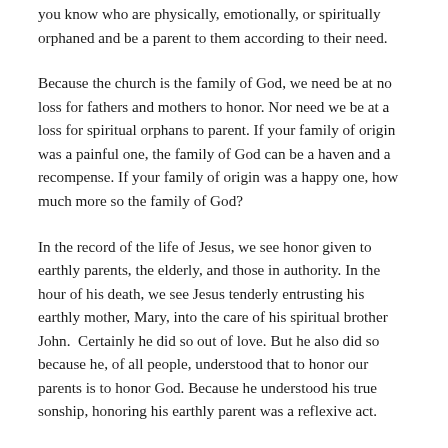you know who are physically, emotionally, or spiritually orphaned and be a parent to them according to their need.
Because the church is the family of God, we need be at no loss for fathers and mothers to honor. Nor need we be at a loss for spiritual orphans to parent. If your family of origin was a painful one, the family of God can be a haven and a recompense. If your family of origin was a happy one, how much more so the family of God?
In the record of the life of Jesus, we see honor given to earthly parents, the elderly, and those in authority. In the hour of his death, we see Jesus tenderly entrusting his earthly mother, Mary, into the care of his spiritual brother John. Certainly he did so out of love. But he also did so because he, of all people, understood that to honor our parents is to honor God. Because he understood his true sonship, honoring his earthly parent was a reflexive act.
The birth narrative of Jesus in the Gospel of Luke holds many memorable witnesses to his nativity. But it pointedly honors